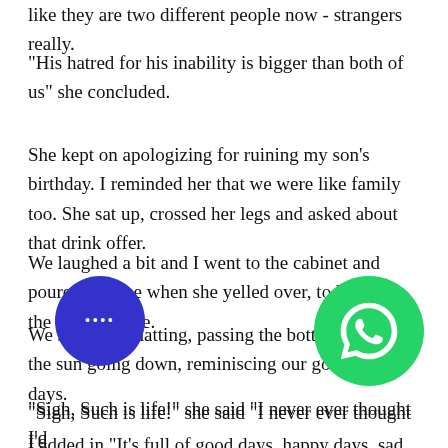like they are two different people now - strangers really.
"His hatred for his inability is bigger than both of us" she concluded.
She kept on apologizing for ruining my son's birthday. I reminded her that we were like family too. She sat up, crossed her legs and asked about that drink offer.
We laughed a bit and I went to the cabinet and poured her one when she yelled over, to bring her the whole bottle.
We sat there chatting, passing the bottle, watching the sun going down, reminiscing our good old days.
"Sigh, Such is life!" she said "I never ever thought I'd... him...
I added in "It's full of good days, happy days, sad and bad days - but you know, we gotta live it coz no matter what - the